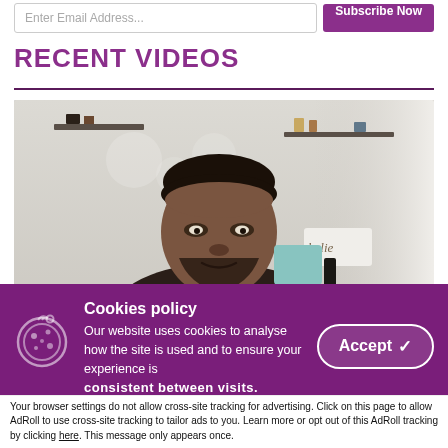Enter Email Address... | Subscribe Now
RECENT VIDEOS
[Figure (photo): Video thumbnail showing a man looking at the camera in a room with shelves and decorative items in the background]
Cookies policy
Our website uses cookies to analyse how the site is used and to ensure your experience is consistent between visits.
Accept and Close ✕
Your browser settings do not allow cross-site tracking for advertising. Click on this page to allow AdRoll to use cross-site tracking to tailor ads to you. Learn more or opt out of this AdRoll tracking by clicking here. This message only appears once.